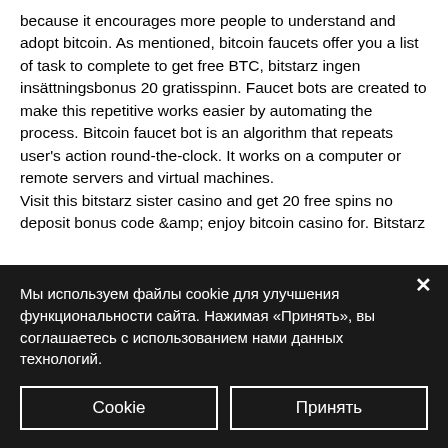because it encourages more people to understand and adopt bitcoin. As mentioned, bitcoin faucets offer you a list of task to complete to get free BTC, bitstarz ingen insättningsbonus 20 gratisspinn. Faucet bots are created to make this repetitive works easier by automating the process. Bitcoin faucet bot is an algorithm that repeats user's action round-the-clock. It works on a computer or remote servers and virtual machines.
Visit this bitstarz sister casino and get 20 free spins no deposit bonus code &amp;amp; enjoy bitcoin casino for. Bitstarz
Мы используем файлы cookie для улучшения функциональности сайта. Нажимая «Принять», вы соглашаетесь с использованием нами данных технологий.
Cookie
Принять